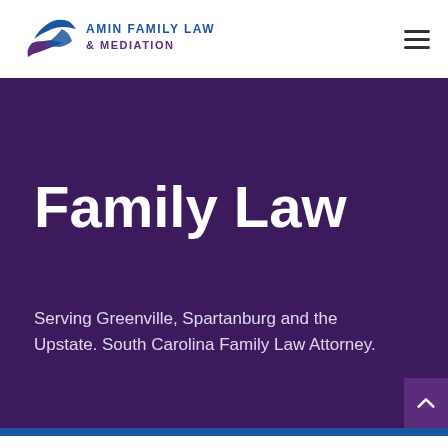[Figure (logo): Amin Family Law & Mediation logo with two hands and blue/purple text]
[Figure (other): Hamburger menu icon (three horizontal lines)]
Family Law
Serving Greenville, Spartanburg and the Upstate. South Carolina Family Law Attorney.